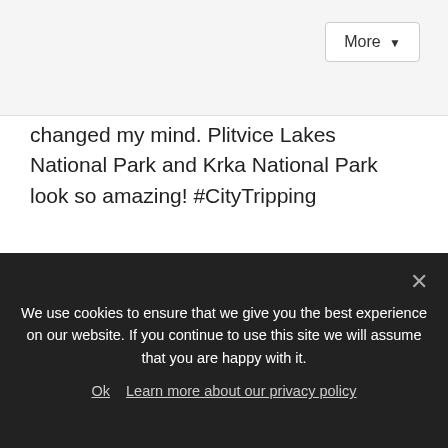[Figure (screenshot): Top gray bar with More dropdown button]
changed my mind. Plitvice Lakes National Park and Krka National Park look so amazing! #CityTripping
Reply
California Globetrotter says:
April 10, 2017 at 10:03 am
[Figure (screenshot): Follow me on social media popup with icons for Facebook, Instagram, Pinterest, Twitter, Bloglovin, RSS and a close button]
We use cookies to ensure that we give you the best experience on our website. If you continue to use this site we will assume that you are happy with it.
Ok  Learn more about our privacy policy